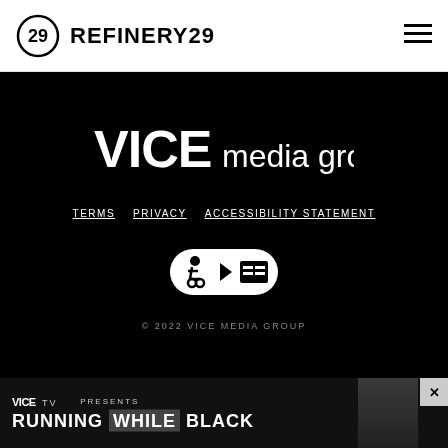REFINERY29
[Figure (logo): VICE media group logo in white on black background]
TERMS
PRIVACY
ACCESSIBILITY STATEMENT
[Figure (illustration): Accessibility and closed captioning badge icons in white oval]
© 2022 VICE MEDIA GROUP
[Figure (screenshot): Ad banner: VICE TV PRESENTS / RUNNING WHILE BLACK with person's face on right]